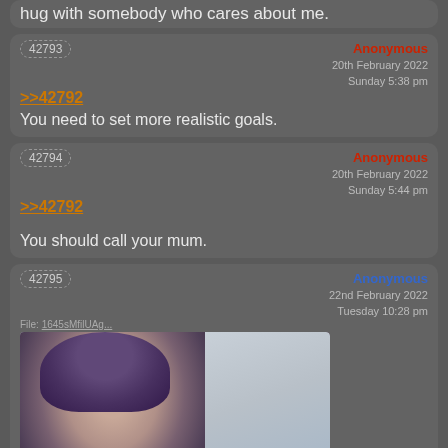hug with somebody who cares about me.
42793 | Anonymous | 20th February 2022 Sunday 5:38 pm | >>42792 | You need to set more realistic goals.
42794 | Anonymous | 20th February 2022 Sunday 5:44 pm | >>42792 | You should call your mum.
42795 | Anonymous | 22nd February 2022 Tuesday 10:28 pm
[Figure (photo): Photo of a young woman with purple hair, outdoors in snowy conditions, with a bird on her shoulder, wearing dark clothing.]